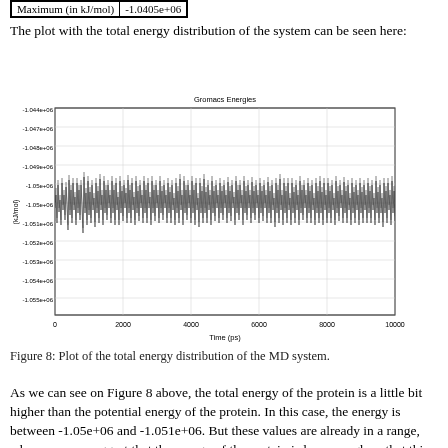| Maximum (in kJ/mol) |
| --- |
| -1.0405e+06 |
The plot with the total energy distribution of the system can be seen here:
[Figure (continuous-plot): Time series plot of total energy of the MD system. Y-axis ranges from about -1.055e+06 to -1.044e+06 kJ/mol. X-axis shows time in ps from 0 to 10000. Dense oscillating signal centered around -1.05e+06 to -1.051e+06.]
Figure 8: Plot of the total energy distribution of the MD system.
As we can see on Figure 8 above, the total energy of the protein is a little bit higher than the potential energy of the protein. In this case, the energy is between -1.05e+06 and -1.051e+06. But these values are already in a range, where we can suggest that the energy of the protein is low enough so that this one can work.